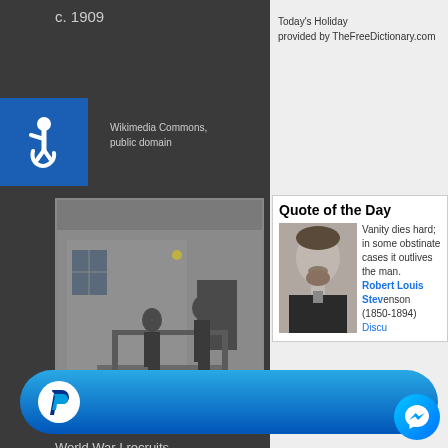c. 1909
Wikimedia Commons, public domain
[Figure (photo): Accessibility wheelchair icon on blue square background]
[Figure (photo): Historical black and white photograph showing two people standing on a porch or steps of a building, circa 1909]
View on Facebook · Share
👍 122  ↪ 24  💬 5
Heartfelt History
Today's Holiday
provided by TheFreeDictionary.com
Quote of the Day
[Figure (photo): Black and white portrait photograph of Robert Louis Stevenson]
Vanity dies hard; in some obstinate cases it outlives the man.
Robert Louis Stevenson (1850-1894) Discuss
Quote of the Day
[Figure (logo): PayPal button with P logo on blue gradient rounded rectangle background]
World War I recruits